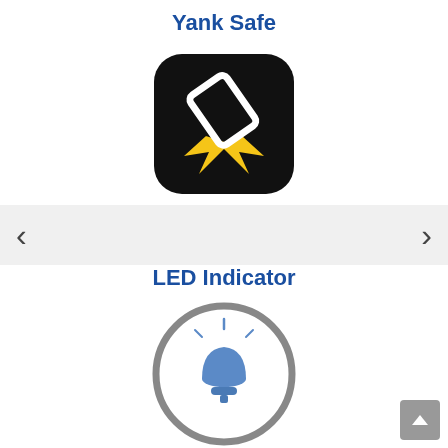Yank Safe
[Figure (logo): Black rounded-square icon with a white phone/device being yanked away from a yellow spark/impact graphic]
XMAG Magnetic Cable protects your mobile devices from damage damage when tripping over the cable.
LED Indicator
[Figure (illustration): Gray circle border with a blue LED/alarm light icon in the center, with light rays emanating upward]
The LED light of XMAG Magnetic cable helps you locate your cable in the dark.